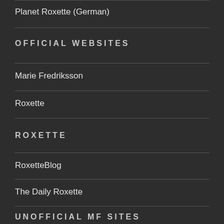Planet Roxette (German)
OFFICIAL WEBSITES
Marie Fredriksson
Roxette
ROXETTE
RoxetteBlog
The Daily Roxette
UNOFFICIAL MF SITES